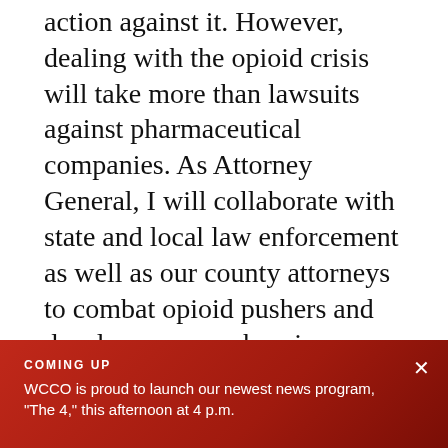action against it. However, dealing with the opioid crisis will take more than lawsuits against pharmaceutical companies. As Attorney General, I will collaborate with state and local law enforcement as well as our county attorneys to combat opioid pushers and develop a comprehensive strategy to reduce opioid abuse.
Should the penalty for certain violent crimes in Minnesota be the death penalty?
COMING UP
WCCO is proud to launch our newest news program, "The 4," this afternoon at 4 p.m.